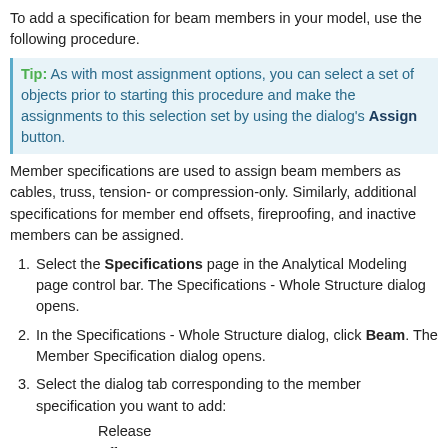To add a specification for beam members in your model, use the following procedure.
Tip: As with most assignment options, you can select a set of objects prior to starting this procedure and make the assignments to this selection set by using the dialog's Assign button.
Member specifications are used to assign beam members as cables, truss, tension- or compression-only. Similarly, additional specifications for member end offsets, fireproofing, and inactive members can be assigned.
1. Select the Specifications page in the Analytical Modeling page control bar. The Specifications - Whole Structure dialog opens.
2. In the Specifications - Whole Structure dialog, click Beam. The Member Specification dialog opens.
3. Select the dialog tab corresponding to the member specification you want to add: Release Offset Property Reduction Factor